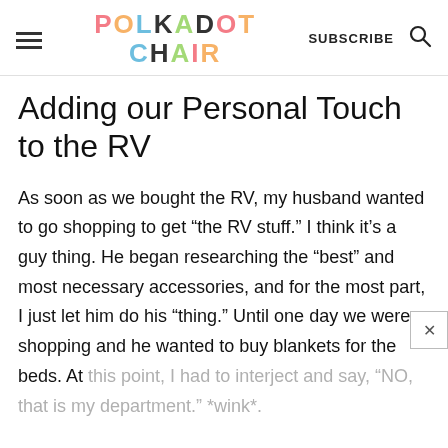POLKADOT CHAIR | SUBSCRIBE
Adding our Personal Touch to the RV
As soon as we bought the RV, my husband wanted to go shopping to get “the RV stuff.” I think it’s a guy thing. He began researching the “best” and most necessary accessories, and for the most part, I just let him do his “thing.” Until one day we were shopping and he wanted to buy blankets for the beds. At this point, I had to interject and say, “NO, that is my department.” *wink*.